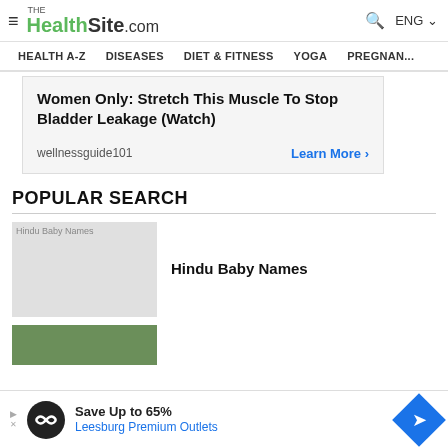THE HealthSite.com — HEALTH A-Z | DISEASES | DIET & FITNESS | YOGA | PREGNAN...
[Figure (screenshot): Advertisement banner: Women Only: Stretch This Muscle To Stop Bladder Leakage (Watch) — wellnessguide101, Learn More >]
POPULAR SEARCH
[Figure (photo): Hindu Baby Names thumbnail image placeholder (light gray)]
Hindu Baby Names
[Figure (photo): Second search result thumbnail, green/olive background, partially visible]
[Figure (screenshot): Bottom advertisement: Save Up to 65% — Leesburg Premium Outlets]